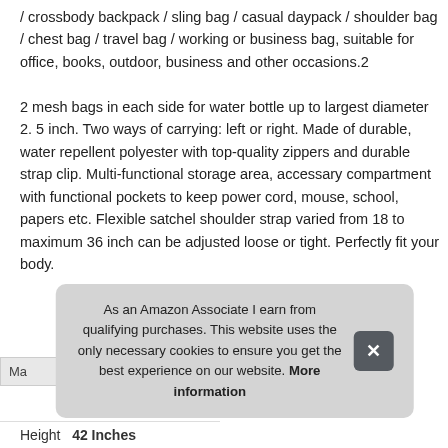/ crossbody backpack / sling bag / casual daypack / shoulder bag / chest bag / travel bag / working or business bag, suitable for office, books, outdoor, business and other occasions.2
2 mesh bags in each side for water bottle up to largest diameter 2. 5 inch. Two ways of carrying: left or right. Made of durable, water repellent polyester with top-quality zippers and durable strap clip. Multi-functional storage area, accessary compartment with functional pockets to keep power cord, mouse, school, papers etc. Flexible satchel shoulder strap varied from 18 to maximum 36 inch can be adjusted loose or tight. Perfectly fit your body.
As an Amazon Associate I earn from qualifying purchases. This website uses the only necessary cookies to ensure you get the best experience on our website. More information
| Ma... |
| Height | 42 Inches |